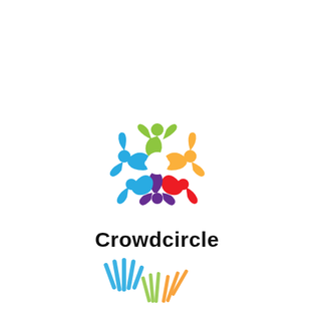[Figure (logo): Crowdcircle logo: colorful stylized figures arranged in a circle (blue, green, yellow, red, purple) with a white center, followed by the text 'Crowdcircle' in bold black below]
[Figure (logo): Partial bottom logo with colorful hand/rays motif in blue, green, and orange/yellow, partially cut off at bottom of page]